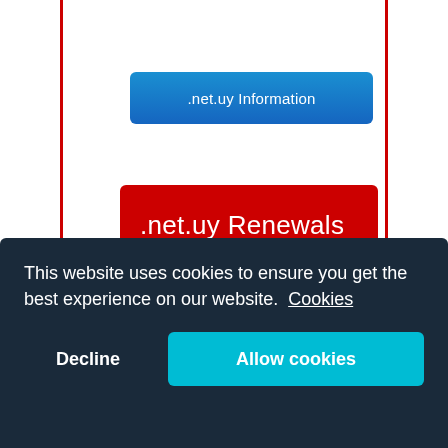.net.uy Information
.net.uy Renewals
You may renew your .net.uy domain without logging into your control panel by using our quick and painfree renewal service, or even transfer it into nominate to be renewed if necessary.
This website uses cookies to ensure you get the best experience on our website. Cookies
Decline
Allow cookies